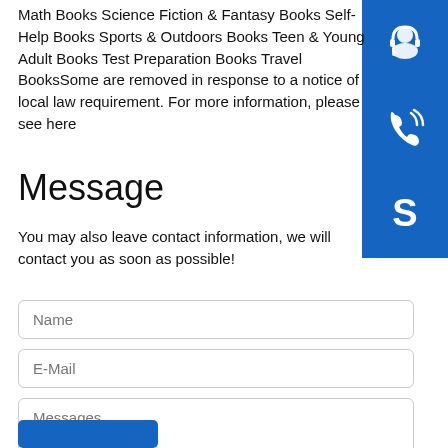Math Books Science Fiction & Fantasy Books Self-Help Books Sports & Outdoors Books Teen & Young Adult Books Test Preparation Books Travel BooksSome are removed in response to a notice of local law requirement. For more information, please see here
[Figure (illustration): Three blue square icons stacked vertically on the right side: top icon shows a headset/customer support symbol, middle icon shows a phone with signal waves, bottom icon shows Skype logo letter S.]
Message
You may also leave contact information, we will contact you as soon as possible!
Name (form input field)
E-Mail (form input field)
Messages (form textarea)